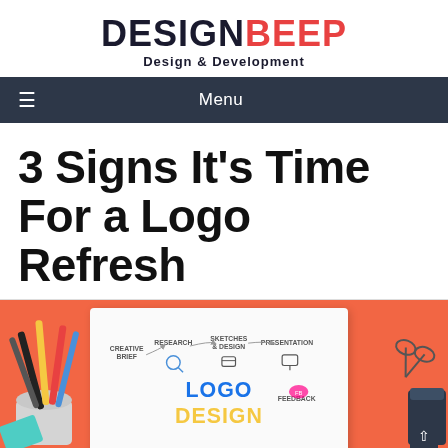[Figure (logo): DesignBeep logo with 'DESIGN' in dark navy bold and 'BEEP' in red bold, subtitle 'Design & Development' in dark bold]
Menu
3 Signs It’s Time For a Logo Refresh
[Figure (illustration): Infographic illustration on coral/orange background showing a logo design process workflow on a white paper: Creative Brief, Research, Sketches & Design, Presentation, Feedback, Logo Design text in center. Surrounded by pencils, scissors, and design tools.]